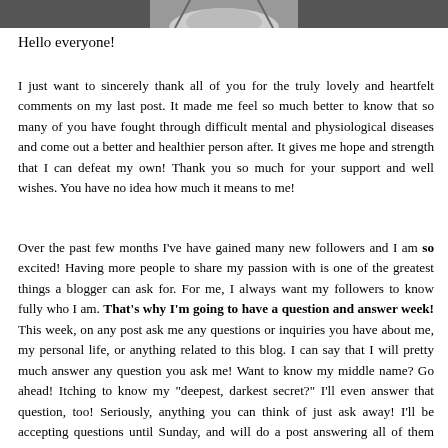[Figure (photo): Black and white photo strip showing a person with hands raised, cropped at top of page]
Hello everyone!
I just want to sincerely thank all of you for the truly lovely and heartfelt comments on my last post. It made me feel so much better to know that so many of you have fought through difficult mental and physiological diseases and come out a better and healthier person after. It gives me hope and strength that I can defeat my own! Thank you so much for your support and well wishes. You have no idea how much it means to me!
Over the past few months I've have gained many new followers and I am so excited! Having more people to share my passion with is one of the greatest things a blogger can ask for. For me, I always want my followers to know fully who I am. That's why I'm going to have a question and answer week! This week, on any post ask me any questions or inquiries you have about me, my personal life, or anything related to this blog. I can say that I will pretty much answer any question you ask me! Want to know my middle name? Go ahead! Itching to know my "deepest, darkest secret?" I'll even answer that question, too! Seriously, anything you can think of just ask away! I'll be accepting questions until Sunday, and will do a post answering all of them later that night.